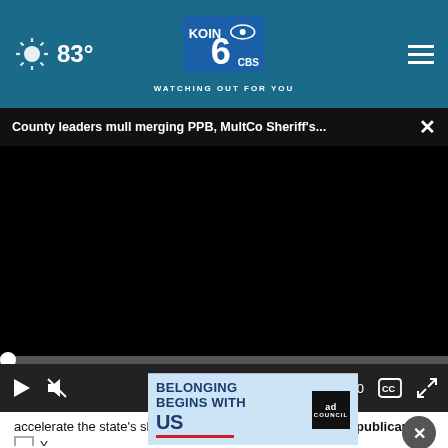83° KOIN 6 CBS WATCHING OUT FOR YOU
County leaders mull merging PPB, MultCo Sheriff's...
[Figure (screenshot): Black video player area]
00:00
accelerate the state's shift to a Democratic state from a Republican one?
[Figure (infographic): Ad banner: BELONGING BEGINS WITH US, ad council logo]